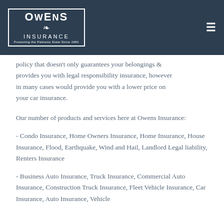Owens Insurance — Protecting the Palmetto State Since 1982
policy that doesn't only guarantees your belongings & provides you with legal responsibility insurance, however in many cases would provide you with a lower price on your car insurance.
Our number of products and services here at Owens Insurance:
- Condo Insurance, Home Owners Insurance, Home Insurance, House Insurance, Flood, Earthquake, Wind and Hail, Landlord Legal liability, Renters Insurance
- Business Auto Insurance, Truck Insurance, Commercial Auto Insurance, Construction Truck Insurance, Fleet Vehicle Insurance, Car Insurance, Auto Insurance, Vehicle